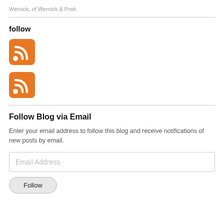Wernick, of Wernick & Pratt
follow
[Figure (logo): RSS feed icon — orange rounded square with white RSS signal waves]
[Figure (logo): RSS feed icon — orange rounded square with white RSS signal waves]
Follow Blog via Email
Enter your email address to follow this blog and receive notifications of new posts by email.
Email Address
Follow